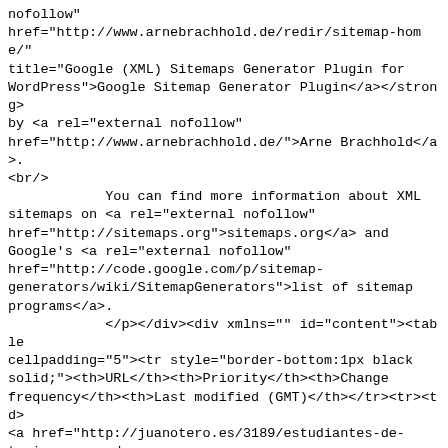nofollow"
href="http://www.arnebrachhold.de/redir/sitemap-home/"
title="Google (XML) Sitemaps Generator Plugin for
WordPress">Google Sitemap Generator Plugin</a></strong>
by <a rel="external nofollow"
href="http://www.arnebrachhold.de/">Arne Brachhold</a>.
<br/>
            You can find more information about XML
sitemaps on <a rel="external nofollow"
href="http://sitemaps.org">sitemaps.org</a> and
Google's <a rel="external nofollow"
href="http://code.google.com/p/sitemap-
generators/wiki/SitemapGenerators">list of sitemap
programs</a>.
            </p></div><div xmlns="" id="content"><table
cellpadding="5"><tr style="border-bottom:1px black
solid;"><th>URL</th><th>Priority</th><th>Change
frequency</th><th>Last modified (GMT)</th></tr><tr><td>
<a href="http://juanotero.es/3189/estudiantes-de-
turismo-creando-
empresas/">http://juanotero.es/3189/estudiantes-de-
turismo-creando-empresas/</a></td><td>80%</td>
<td>Daily</td><td>2009-06-01 06:56</td></tr><tr
class="high"><td><a href="http://juanotero.es/3185/la-
donacion-de-sangre-y-la-falta-de-
solidaridad/">http://juanotero.es/3185/la-donacion-de-
sangre-y-la-falta-de-solidaridad/</a></td><td>80%</td>
<td>Daily</td><td>2009-05-29 18:39</td></tr><tr><td><a
href="http://juanotero.es/3172/mi-entrevista-a-aladino-
martinez-presidente-de-